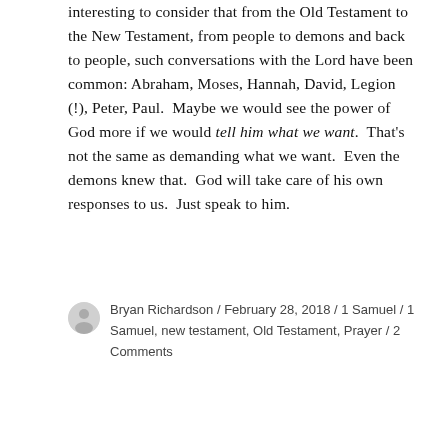interesting to consider that from the Old Testament to the New Testament, from people to demons and back to people, such conversations with the Lord have been common: Abraham, Moses, Hannah, David, Legion (!), Peter, Paul.  Maybe we would see the power of God more if we would tell him what we want.  That's not the same as demanding what we want.  Even the demons knew that.  God will take care of his own responses to us.  Just speak to him.
Bryan Richardson / February 28, 2018 / 1 Samuel / 1 Samuel, new testament, Old Testament, Prayer / 2 Comments